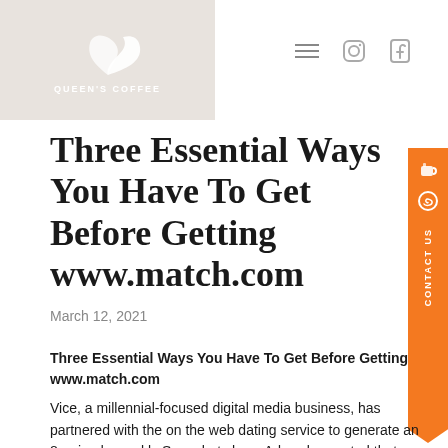[Figure (logo): Queen's Coffee logo: white swan/leaf shape on tan/beige background with text QUEEN'S COFFEE below]
Three Essential Ways You Have To Get Before Getting www.match.com
March 12, 2021
Three Essential Ways You Have To Get Before Getting www.match.com
Vice, a millennial-focused digital media business, has partnered with the on the web dating service to generate an 8-episode weekly Snapchat show, Adweek reported that...